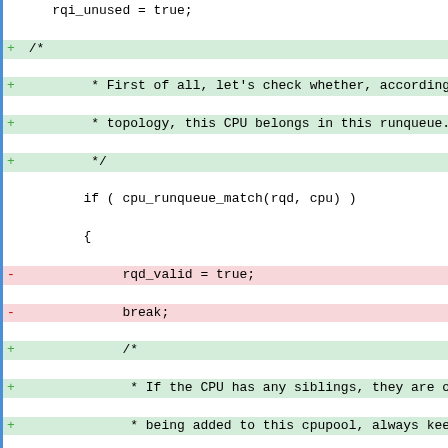[Figure (screenshot): Code diff view showing C source code with added (+) and removed (-) lines. The code shows a CPU runqueue topology check with comments explaining sibling CPU handling logic.]